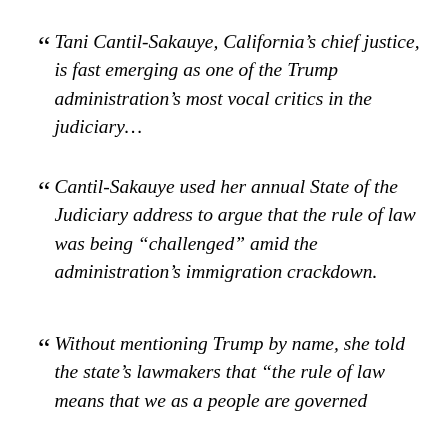“ Tani Cantil-Sakauye, California’s chief justice, is fast emerging as one of the Trump administration’s most vocal critics in the judiciary…
“ Cantil-Sakauye used her annual State of the Judiciary address to argue that the rule of law was being “challenged” amid the administration’s immigration crackdown.
“ Without mentioning Trump by name, she told the state’s lawmakers that “the rule of law means that we as a people are governed